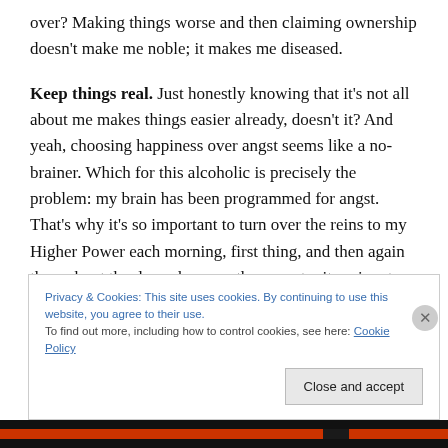over?  Making things worse and then claiming ownership doesn't make me noble; it makes me diseased.

Keep things real. Just honestly knowing that it's not all about me makes things easier already, doesn't it?  And yeah, choosing happiness over angst seems like a no-brainer.  Which for this alcoholic is precisely the problem: my brain has been programmed for angst.  That's why it's so important to turn over the reins to my Higher Power each morning, first thing, and then again throughout the day, whenever the opportunity arises to look up from my
Privacy & Cookies: This site uses cookies. By continuing to use this website, you agree to their use.
To find out more, including how to control cookies, see here: Cookie Policy